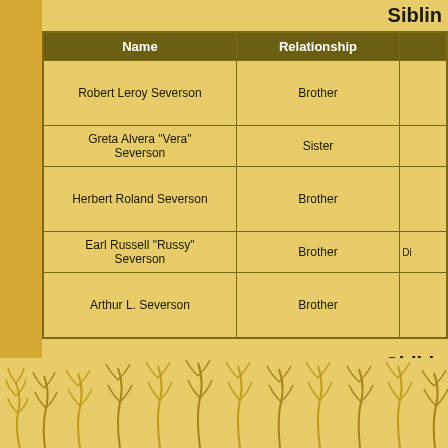Siblings
| Name | Relationship |  |
| --- | --- | --- |
| Robert Leroy Severson | Brother |  |
| Greta Alvera "Vera" Severson | Sister |  |
| Herbert Roland Severson | Brother |  |
| Earl Russell "Russy" Severson | Brother | Di... |
| Arthur L. Severson | Brother |  |
Children
| Name | Other Parent |  |
| --- | --- | --- |
| Krissy Severson | Katherine |  |
| Jakie Severson | Katherine |  |
| Laura Severson | Virginia |  |
| Janet Severson | Virginia |  |